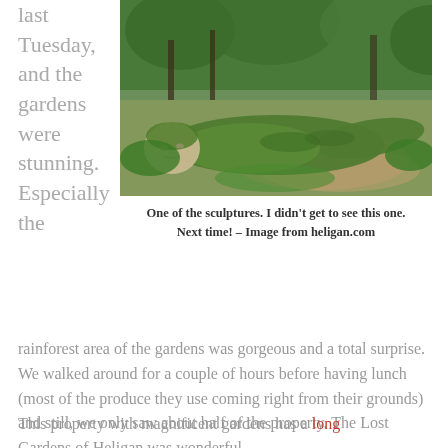last Tuesday, and the gardens were stunning. Especially the
[Figure (photo): A large moss-covered reclining human sculpture lying in a woodland garden setting, surrounded by green vegetation and trees. Image from heligan.com.]
One of the sculptures. I didn't get to see this one. Next time! – Image from heligan.com
rainforest area of the gardens was gorgeous and a total surprise. We walked around for a couple of hours before having lunch (most of the produce they use coming right from their grounds) and still, we only saw about half of the property. The Lost Gardens of Heligan was wonderful.
This property with magnificent gardens has a long